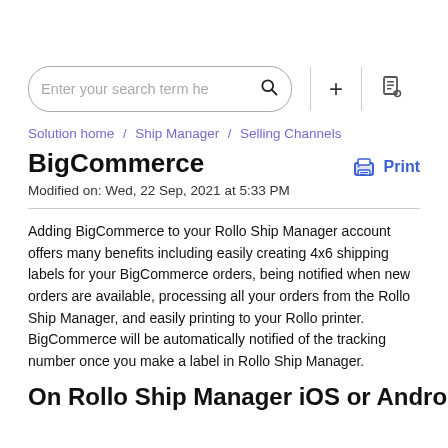[Figure (screenshot): Search bar with text 'Enter your search term he', magnify icon, plus button, and document icon]
Solution home / Ship Manager / Selling Channels
BigCommerce
Modified on: Wed, 22 Sep, 2021 at 5:33 PM
Adding BigCommerce to your Rollo Ship Manager account offers many benefits including easily creating 4x6 shipping labels for your BigCommerce orders, being notified when new orders are available, processing all your orders from the Rollo Ship Manager, and easily printing to your Rollo printer. BigCommerce will be automatically notified of the tracking number once you make a label in Rollo Ship Manager.
On Rollo Ship Manager iOS or Android